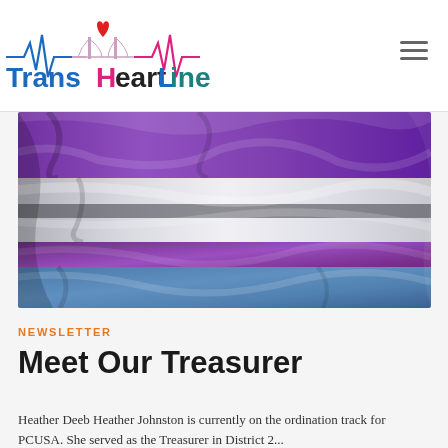Trans HeartLine
[Figure (photo): A draped fabric flag with horizontal stripes in purple, white/silver, and blue — representing a gender queer or non-binary pride flag with silky, flowing texture]
NEWSLETTER
Meet Our Treasurer
Heather Deeb Heather Johnston is currently on the ordination track for PCUSA. She served as the Treasurer in District 2...